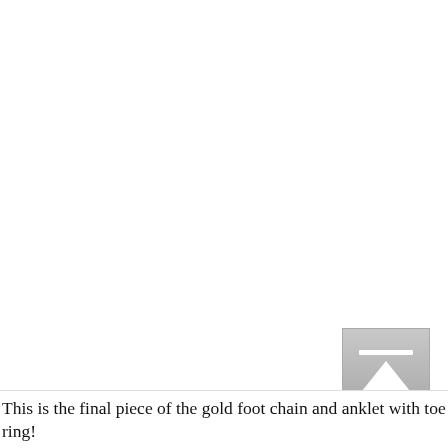[Figure (screenshot): White blank area with a gray scroll-to-top button in the lower right corner. The button has a white horizontal line at the top and a white upward-pointing arrow below it, on a gray gradient background.]
This is the final piece of the gold foot chain and anklet with toe ring!